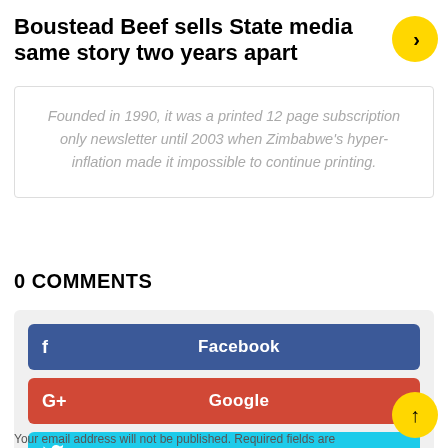Boustead Beef sells State media same story two years apart
Founded in 1990, it was a printed 12 page subscription only newsletter until 2003 when Zimbabwe's hyper-inflation made it impossible to continue printing.
0 COMMENTS
[Figure (infographic): Social share buttons: Facebook (blue), Google (red), Twitter (cyan)]
Your email address will not be published. Required fields are